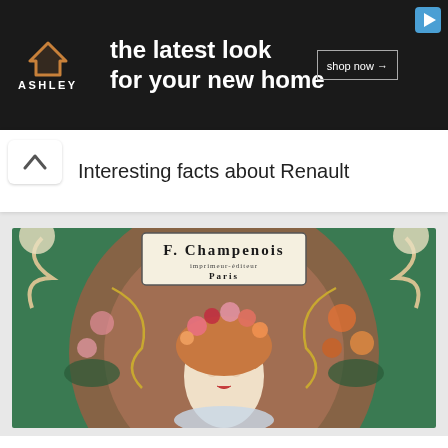[Figure (illustration): Ashley Furniture ad banner: dark background, Ashley logo (house icon + ASHLEY text), headline 'the latest look for your new home', 'shop now →' button, play icon top right]
Interesting facts about Renault
[Figure (illustration): Art Nouveau poster by Alphonse Mucha for F. Champenois, Imprimeur-Editeur, Paris. Shows a woman with ornate floral headdress surrounded by Art Nouveau decorative elements in green, pink, and orange.]
Interesting facts about Art Nouveau